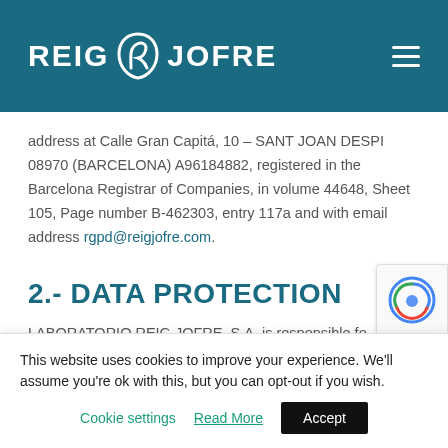REIG JOFRE
address at Calle Gran Capitá, 10 – SANT JOAN DESPI 08970 (BARCELONA) A96184882, registered in the Barcelona Registrar of Companies, in volume 44648, Sheet 105, Page number B-462303, entry 117a and with email address rgpd@reigjofre.com.
2.- DATA PROTECTION
LABORATORIO REIG JOFRE, S.A. is responsible fo…
This website uses cookies to improve your experience. We'll assume you're ok with this, but you can opt-out if you wish.